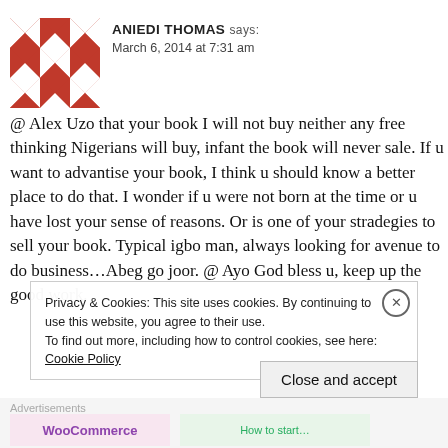[Figure (illustration): Avatar image — red and white geometric diamond/square pattern tile, used as user profile picture for Aniedi Thomas]
ANIEDI THOMAS says:
March 6, 2014 at 7:31 am
@ Alex Uzo that your book I will not buy neither any free thinking Nigerians will buy, infant the book will never sale. If u want to advantise your book, I think u should know a better place to do that. I wonder if u were not born at the time or u have lost your sense of reasons. Or is one of your stradegies to sell your book. Typical igbo man, always looking for avenue to do business…Abeg go joor. @ Ayo God bless u, keep up the good work.
Privacy & Cookies: This site uses cookies. By continuing to use this website, you agree to their use.
To find out more, including how to control cookies, see here: Cookie Policy
Close and accept